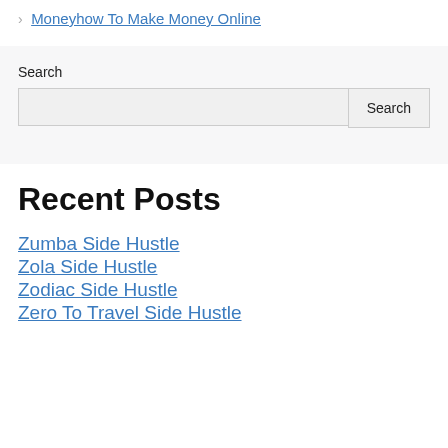> Moneyhow To Make Money Online
Search
Recent Posts
Zumba Side Hustle
Zola Side Hustle
Zodiac Side Hustle
Zero To Travel Side Hustle